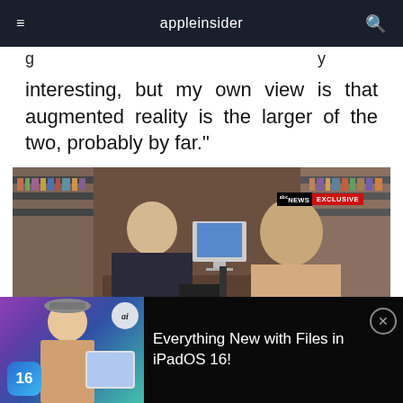appleinsider
interesting, but my own view is that augmented reality is the larger of the two, probably by far."
[Figure (photo): TV screenshot of Tim Cook being interviewed in a library setting with an ABC News EXCLUSIVE banner overlay in the upper right corner. Two people are seated facing each other with bookshelves in the background.]
Everything New with Files in iPadOS 16!